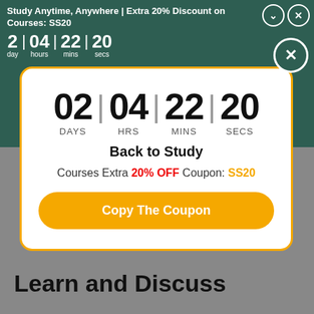Study Anytime, Anywhere | Extra 20% Discount on Courses: SS20
2 day | 04 hours | 22 mins | 20 secs
[Figure (infographic): Popup modal with orange border showing countdown timer 02 DAYS | 04 HRS | 22 MINS | 20 SECS, title 'Back to Study', offer text 'Courses Extra 20% OFF Coupon: SS20', and a yellow 'Copy The Coupon' button]
Learn and Discuss